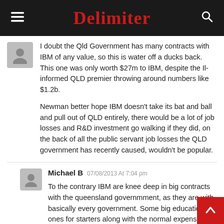Delimiter
I doubt the Qld Government has many contracts with IBM of any value, so this is water off a ducks back. This one was only worth $27m to IBM, despite the Il-informed QLD premier throwing around numbers like $1.2b.

Newman better hope IBM doesn't take its bat and ball and pull out of QLD entirely, there would be a lot of job losses and R&D investment go walking if they did, on the back of all the public servant job losses the QLD government has recently caused, wouldn't be popular.
Michael B 07/08/2013 At 7:04 pm
To the contrary IBM are knee deep in big contracts with the queensland governmment, as they are with basically every government. Some big education ones for starters along with the normal expensive bandaids littered throughout